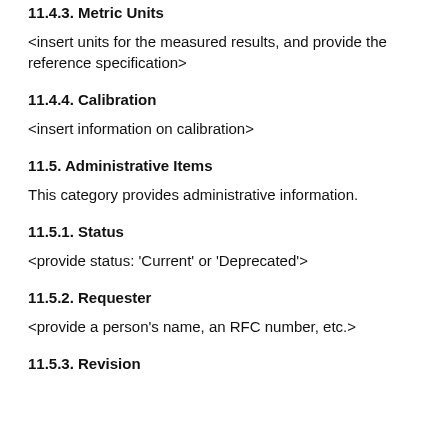11.4.3. Metric Units
<insert units for the measured results, and provide the reference specification>
11.4.4. Calibration
<insert information on calibration>
11.5. Administrative Items
This category provides administrative information.
11.5.1. Status
<provide status: 'Current' or 'Deprecated'>
11.5.2. Requester
<provide a person's name, an RFC number, etc.>
11.5.3. Revision